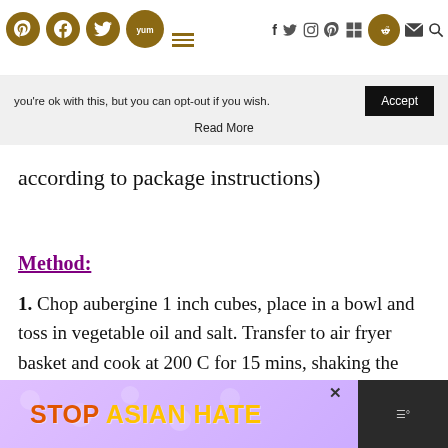Social media and navigation icons bar
you're ok with this, but you can opt-out if you wish. Accept
Read More
according to package instructions)
Method:
1. Chop aubergine 1 inch cubes, place in a bowl and toss in vegetable oil and salt. Transfer to air fryer basket and cook at 200 C for 15 mins, shaking the basket every 5 mins.
2.
[Figure (screenshot): STOP ASIAN HATE advertisement banner with purple floral background and orange/yellow bold text]